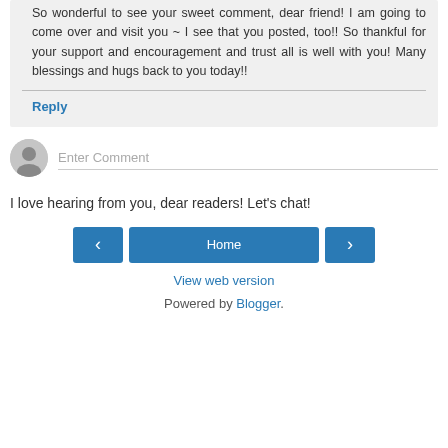So wonderful to see your sweet comment, dear friend! I am going to come over and visit you ~ I see that you posted, too!! So thankful for your support and encouragement and trust all is well with you! Many blessings and hugs back to you today!!
Reply
Enter Comment
I love hearing from you, dear readers! Let's chat!
‹
Home
›
View web version
Powered by Blogger.